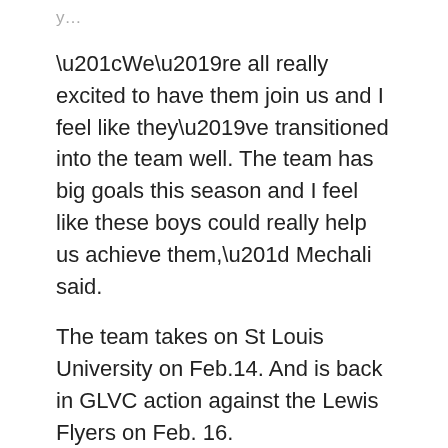“We’re all really excited to have them join us and I feel like they’ve transitioned into the team well. The team has big goals this season and I feel like these boys could really help us achieve them,” Mechali said.
The team takes on St Louis University on Feb.14. And is back in GLVC action against the Lewis Flyers on Feb. 16.
[Figure (other): Green Print/PDF button with printer icons]
Share this:
[Figure (other): Twitter and Facebook share buttons]
Like this:
[Figure (other): Like button and blogger avatar]
One blogger likes this.